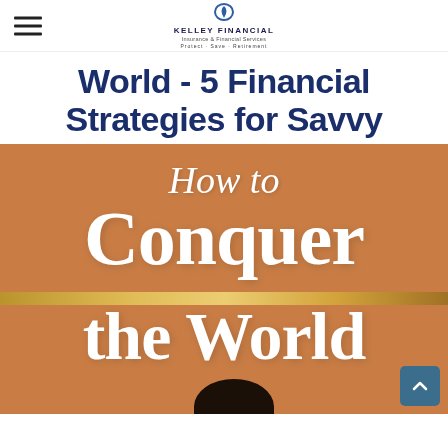Kelley Financial - Insurance & Financial Services
World - 5 Financial Strategies for Savvy
[Figure (illustration): Promotional graphic with orange/tan background showing 'How to Conquer the World' in large white serif and script typography, with a gold foil accent bar and partial image of a person at the bottom. A teal scroll-to-top button is in the lower right corner.]